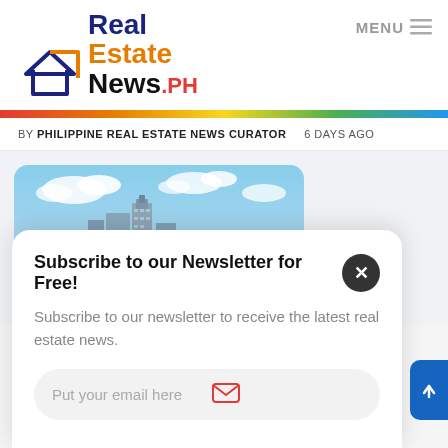[Figure (logo): Real Estate News PH logo with house icon in navy blue and orange, text in navy blue, orange, black, and red]
MENU
BY PHILIPPINE REAL ESTATE NEWS CURATOR   6 DAYS AGO
[Figure (photo): City skyline photo showing modern skyscrapers against a partly cloudy blue sky, likely Metro Manila Philippines]
Subscribe to our Newsletter for Free!
Subscribe to our newsletter to receive the latest real estate news.
Put your email here